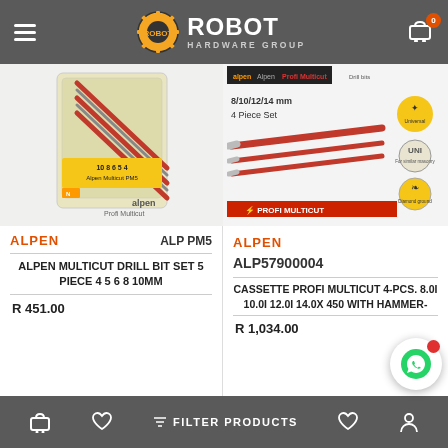ROBOT HARDWARE GROUP
[Figure (photo): Alpen Profi Multicut drill bit set 5 piece, packaged in clear plastic blister pack showing 5 drill bits]
ALPEN   ALP PM5
ALPEN MULTICUT DRILL BIT SET 5 PIECE 4 5 6 8 10MM
R 451.00
[Figure (photo): Alpen Profi Multicut drill bits 8/10/12/14 mm 4 Piece Set, showing red drill bits with feature badges]
ALPEN
ALP57900004
CASSETTE PROFI MULTICUT 4-PCS. 8.0I 10.0I 12.0I 14.0X 450 WITH HAMMER-
R 1,034.00
FILTER PRODUCTS